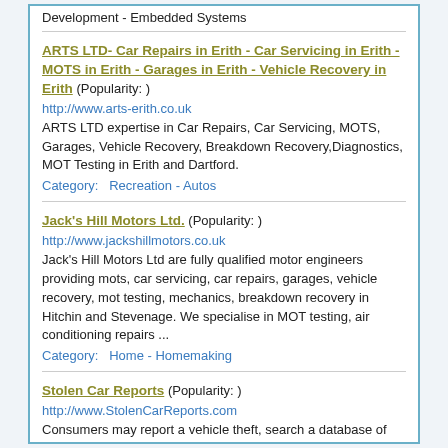Development - Embedded Systems
ARTS LTD- Car Repairs in Erith - Car Servicing in Erith - MOTS in Erith - Garages in Erith - Vehicle Recovery in Erith (Popularity: )
http://www.arts-erith.co.uk
ARTS LTD expertise in Car Repairs, Car Servicing, MOTS, Garages, Vehicle Recovery, Breakdown Recovery,Diagnostics, MOT Testing in Erith and Dartford.
Category:   Recreation - Autos
Jack's Hill Motors Ltd. (Popularity: )
http://www.jackshillmotors.co.uk
Jack's Hill Motors Ltd are fully qualified motor engineers providing mots, car servicing, car repairs, garages, vehicle recovery, mot testing, mechanics, breakdown recovery in Hitchin and Stevenage. We specialise in MOT testing, air conditioning repairs ...
Category:   Home - Homemaking
Stolen Car Reports (Popularity: )
http://www.StolenCarReports.com
Consumers may report a vehicle theft, search a database of stolen vehicles, provide tips to aid in the recovery of a vehicle.
Category:   Home - Consumer Information - Automobiles - Advocacy and Protection
Related: Vehicle Recovery - Vehicle Recovery In